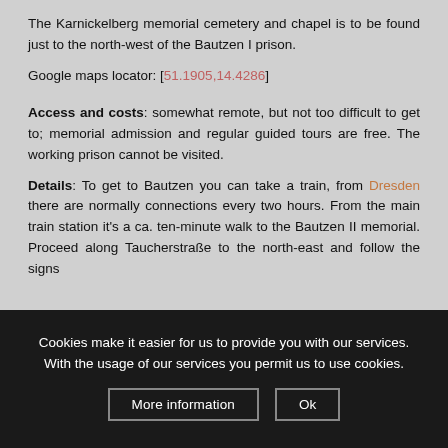The Karnickelberg memorial cemetery and chapel is to be found just to the north-west of the Bautzen I prison.
Google maps locator: [51.1905,14.4286]
Access and costs: somewhat remote, but not too difficult to get to; memorial admission and regular guided tours are free. The working prison cannot be visited.
Details: To get to Bautzen you can take a train, from Dresden there are normally connections every two hours. From the main train station it's a ca. ten-minute walk to the Bautzen II memorial. Proceed along Taucherstraße to the north-east and follow the signs
Cookies make it easier for us to provide you with our services. With the usage of our services you permit us to use cookies.